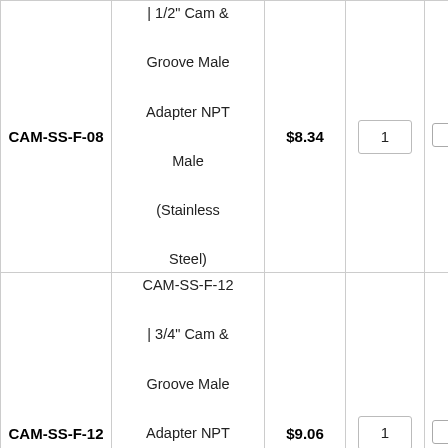| SKU | Description | Price | Qty | Select |
| --- | --- | --- | --- | --- |
| CAM-SS-F-08 | CAM-SS-F-08 | 1/2" Cam & Groove Male Adapter NPT Male (Stainless Steel) | $8.34 | 1 |  |
| CAM-SS-F-12 | CAM-SS-F-12 | 3/4" Cam & Groove Male Adapter NPT Male (Stainless Steel) | $9.06 | 1 |  |
|  | CAM-SS-F-16 |  |  |  |